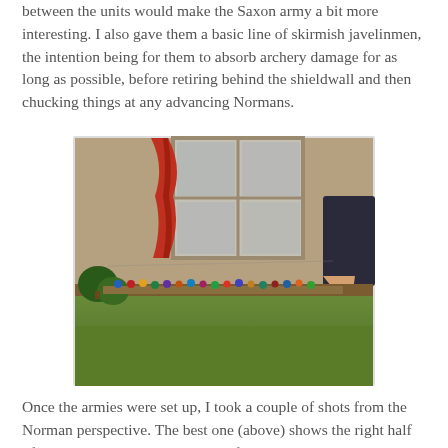between the units would make the Saxon army a bit more interesting.  I also gave them a basic line of skirmish javelinmen, the intention being for them to absorb archery damage for as long as possible, before retiring behind the shieldwall and then chucking things at any advancing Normans.
[Figure (photo): Photograph of tabletop wargame miniatures arranged in a battle line on a green felt surface, with trees visible on the left. A red curtain and window are visible in the background, and a person's hand is visible on the right side.]
Once the armies were set up, I took a couple of shots from the Norman perspective.  The best one (above) shows the right half of the Saxon array on their nice safe hill, and the woods that protect their flank.
[Figure (photo): Partial photograph of tabletop wargame setup, showing a green felt surface with miniatures.]